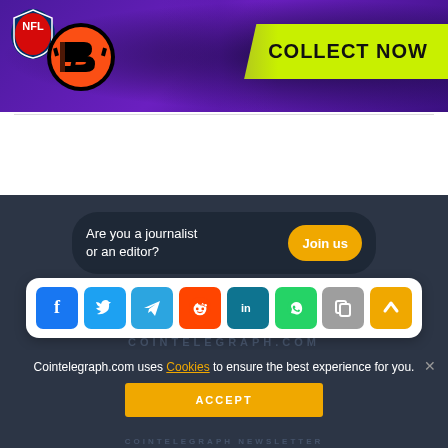[Figure (illustration): NFL and Cincinnati Bengals promotional banner with purple/galaxy background, NFL shield logo, Bengals logo, and lime green 'COLLECT NOW' badge]
[Figure (infographic): Social share bar with 8 icons: Facebook (blue), Twitter (light blue), Telegram (blue), Reddit (orange), LinkedIn (teal), WhatsApp (green), Copy (gray), and Scroll-up (gold/yellow)]
Are you a journalist or an editor?
Join us
Cointelegraph.com uses Cookies to ensure the best experience for you.
ACCEPT
COINTELEGRAPH NEWSLETTER